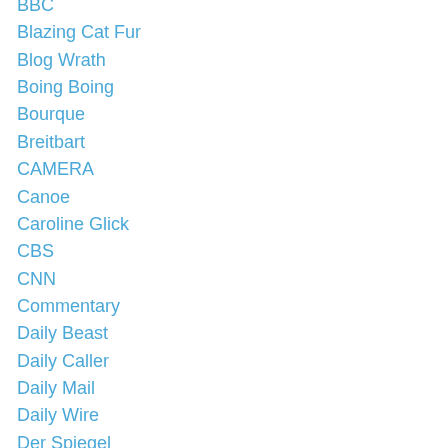BBC
Blazing Cat Fur
Blog Wrath
Boing Boing
Bourque
Breitbart
CAMERA
Canoe
Caroline Glick
CBS
CNN
Commentary
Daily Beast
Daily Caller
Daily Mail
Daily Wire
Der Spiegel
Dodo Can Spell
Drudge
End of your arm